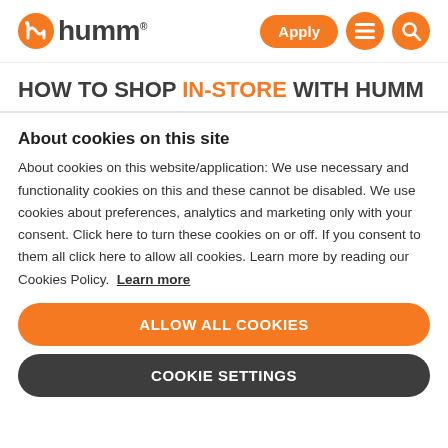humm — Apply, Menu, Search
HOW TO SHOP IN-STORE WITH HUMM
About cookies on this site
About cookies on this website/application: We use necessary and functionality cookies on this and these cannot be disabled. We use cookies about preferences, analytics and marketing only with your consent. Click here to turn these cookies on or off. If you consent to them all click here to allow all cookies. Learn more by reading our Cookies Policy. Learn more
ALLOW ALL COOKIES
COOKIE SETTINGS